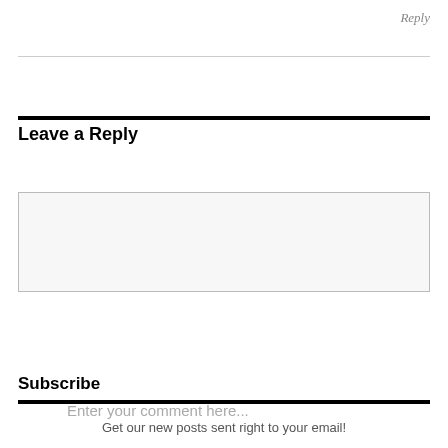Reply
Leave a Reply
Enter your comment here...
Subscribe
Get our new posts sent right to your email!